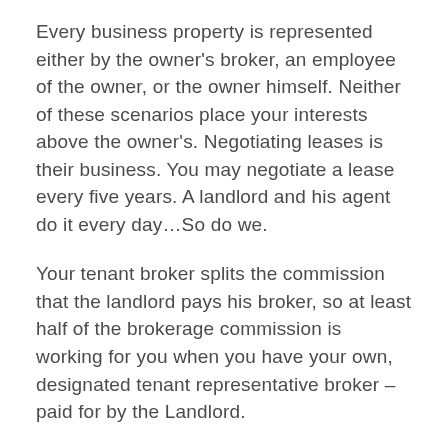Every business property is represented either by the owner's broker, an employee of the owner, or the owner himself. Neither of these scenarios place your interests above the owner's. Negotiating leases is their business. You may negotiate a lease every five years. A landlord and his agent do it every day…So do we.
Your tenant broker splits the commission that the landlord pays his broker, so at least half of the brokerage commission is working for you when you have your own, designated tenant representative broker – paid for by the Landlord.